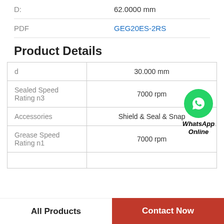| D: | 62.0000 mm |
| PDF | GEG20ES-2RS |
Product Details
| d | 30.000 mm |
| Sealed Speed Rating n3 | 7000 rpm |
| Accessories | Shield & Seal & Snap |
| Grease Speed Rating n1 | 7000 rpm |
[Figure (logo): WhatsApp Online contact widget with green phone icon]
All Products
Contact Now